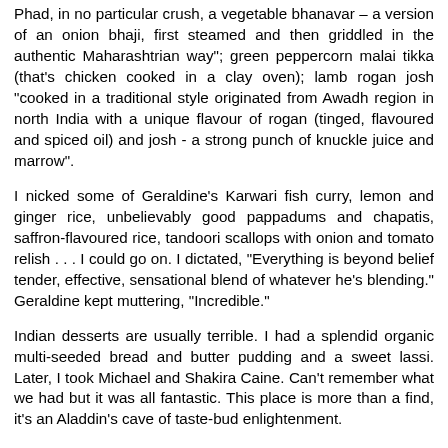Phad, in no particular crush, a vegetable bhanavar – a version of an onion bhaji, first steamed and then griddled in the authentic Maharashtrian way"; green peppercorn malai tikka (that's chicken cooked in a clay oven); lamb rogan josh "cooked in a traditional style originated from Awadh region in north India with a unique flavour of rogan (tinged, flavoured and spiced oil) and josh - a strong punch of knuckle juice and marrow".
I nicked some of Geraldine's Karwari fish curry, lemon and ginger rice, unbelievably good pappadums and chapatis, saffron-flavoured rice, tandoori scallops with onion and tomato relish . . . I could go on. I dictated, "Everything is beyond belief tender, effective, sensational blend of whatever he's blending." Geraldine kept muttering, "Incredible."
Indian desserts are usually terrible. I had a splendid organic multi-seeded bread and butter pudding and a sweet lassi. Later, I took Michael and Shakira Caine. Can't remember what we had but it was all fantastic. This place is more than a find, it's an Aladdin's cave of taste-bud enlightenment.
Before she died, Rose Gray, co-boss of the River Cafe, used to get takeaway from here. I'm not sure they do that massively, but Shakira was definitely planning to have some. It's near enough to my house that I can go and eat it straight from Manoj's